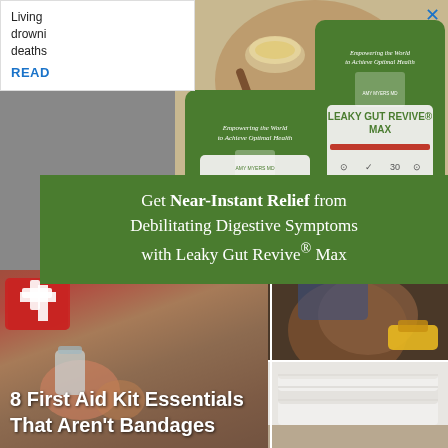Living drowni deaths
READ
[Figure (photo): Green Leaky Gut Revive Max supplement product bags on a wooden board with powder and spoons]
Get Near-Instant Relief from Debilitating Digestive Symptoms with Leaky Gut Revive® Max
[Figure (photo): First aid kit with red cross and medical supplies]
[Figure (photo): Hands holding tools or working]
[Figure (photo): Stacked white folded towels on surface]
8 First Aid Kit Essentials That Aren't Bandages